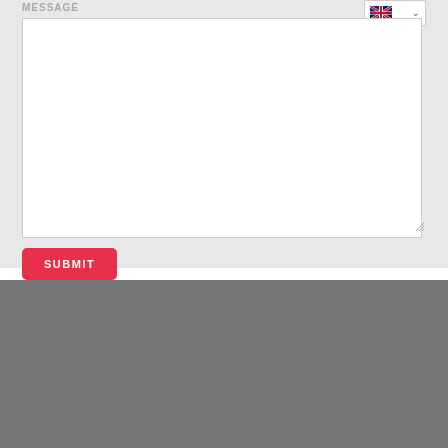MESSAGE
[Figure (screenshot): Empty message textarea with white background and resize handle at bottom-right]
SUBMIT
CONTACT
HAPPY TO HEAR FROM YOU
Bucharest, Romania
Mobile: +40 725 238 464
Mobile: +40 725 173 730